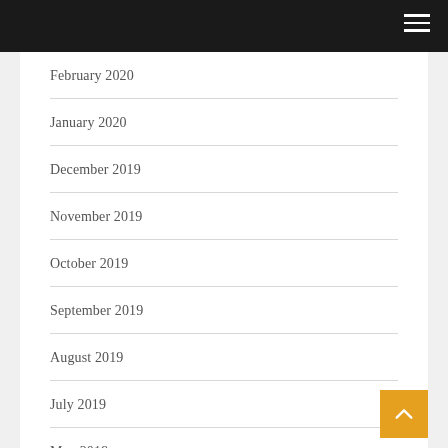February 2020
January 2020
December 2019
November 2019
October 2019
September 2019
August 2019
July 2019
May 2019
April 2019